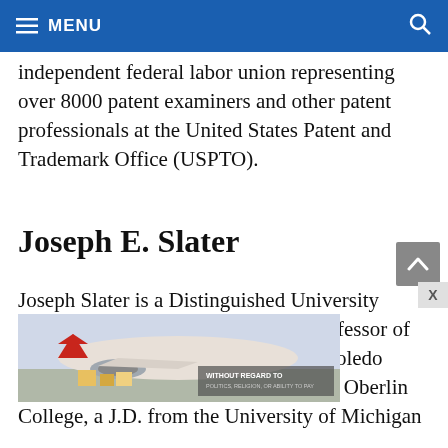MENU
independent federal labor union representing over 8000 patent examiners and other patent professionals at the United States Patent and Trademark Office (USPTO).
Joseph E. Slater
Joseph Slater is a Distinguished University Professor and the Eugene N. Balk Professor of Law and Values at the University of Toledo College of Law. He holds a B.A. from Oberlin College, a J.D. from the University of Michigan
[Figure (photo): Advertisement banner showing an airplane being loaded with cargo, with text overlay 'WITHOUT REGARD TO POLITICS, RELIGION, OR ABILITY TO PAY']